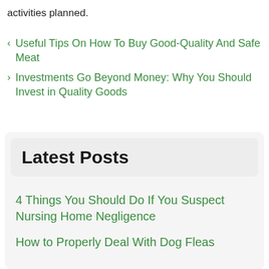activities planned.
< Useful Tips On How To Buy Good-Quality And Safe Meat
> Investments Go Beyond Money: Why You Should Invest in Quality Goods
Latest Posts
4 Things You Should Do If You Suspect Nursing Home Negligence
How to Properly Deal With Dog Fleas